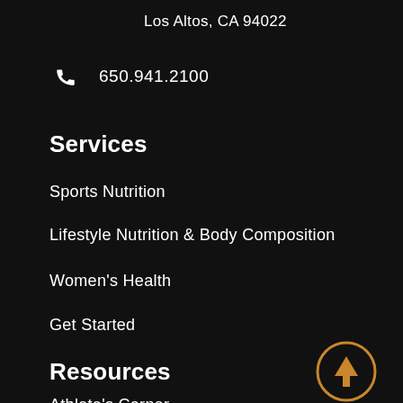Los Altos, CA 94022
650.941.2100
Services
Sports Nutrition
Lifestyle Nutrition & Body Composition
Women's Health
Get Started
Resources
[Figure (illustration): Orange circle with upward arrow icon (scroll to top button)]
Athlete's Corner
Nutrition and Wellness